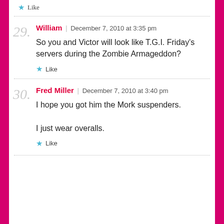Like
29. William | December 7, 2010 at 3:35 pm
So you and Victor will look like T.G.I. Friday's servers during the Zombie Armageddon?
Like
30. Fred Miller | December 7, 2010 at 3:40 pm
I hope you got him the Mork suspenders.
I just wear overalls.
Like